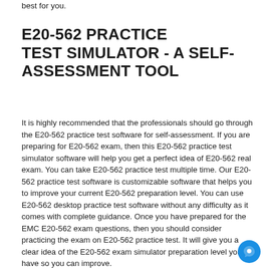best for you.
E20-562 PRACTICE TEST SIMULATOR - A SELF-ASSESSMENT TOOL
It is highly recommended that the professionals should go through the E20-562 practice test software for self-assessment. If you are preparing for E20-562 exam, then this E20-562 practice test simulator software will help you get a perfect idea of E20-562 real exam. You can take E20-562 practice test multiple time. Our E20-562 practice test software is customizable software that helps you to improve your current E20-562 preparation level. You can use E20-562 desktop practice test software without any difficulty as it comes with complete guidance. Once you have prepared for the EMC E20-562 exam questions, then you should consider practicing the exam on E20-562 practice test. It will give you a clear idea of the E20-562 exam simulator preparation level you have so you can improve.